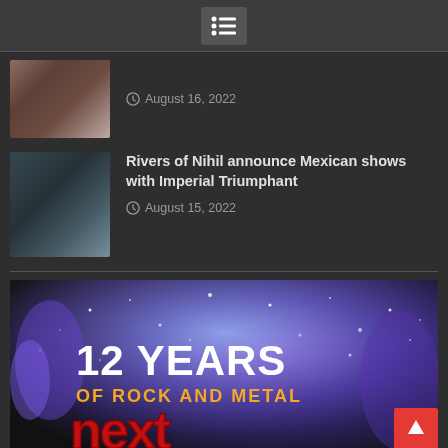Menu icon / navigation
August 16, 2022
Rivers of Nihil announce Mexican shows with Imperial Triumphant
August 15, 2022
[Figure (illustration): Banner image: 12 YEARS OF ROCK AND METAL - next logo with concert pyrotechnics/confetti background]